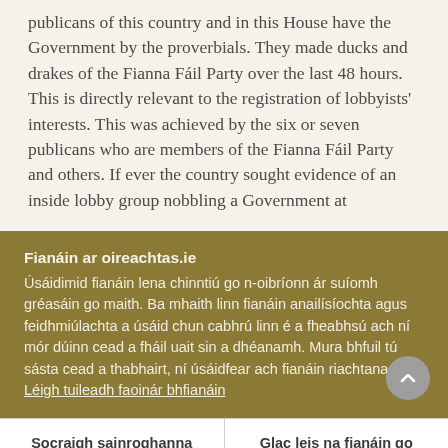publicans of this country and in this House have the Government by the proverbials. They made ducks and drakes of the Fianna Fáil Party over the last 48 hours. This is directly relevant to the registration of lobbyists' interests. This was achieved by the six or seven publicans who are members of the Fianna Fáil Party and others. If ever the country sought evidence of an inside lobby group nobbling a Government at
Fianáin ar oireachtas.ie
Úsáidimid fianáin lena chinntiú go n-oibríonn ár suíomh gréasáin go maith. Ba mhaith linn fianáin anailísíochta agus feidhmiúlachta a úsáid chun cabhrú linn é a fheabhsú ach ní mór dúinn cead a fháil uait sin a dhéanamh. Mura bhfuil tú sásta cead a thabhairt, ní úsáidfear ach fianáin riachtanacha. Léigh tuileadh faoinár bhfianáin
Socraigh sainroghanna fianán
Glac leis na fianáin go léir